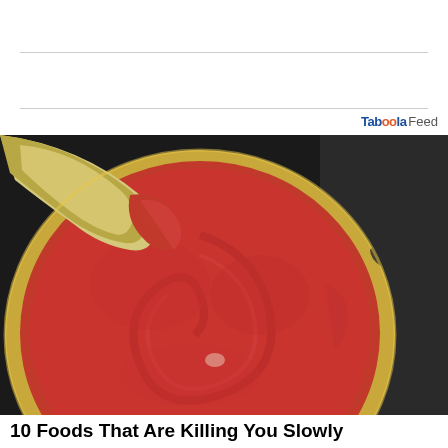[Figure (photo): Open can of tomato paste/puree viewed from above, showing the bright red thick tomato content with a partially peeled back gold/silver lid, on a dark background]
10 Foods That Are Killing You Slowly